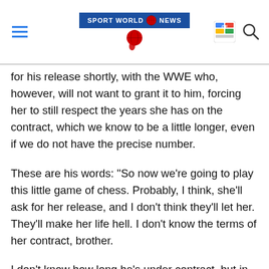Sport World News
for his release shortly, with the WWE who, however, will not want to grant it to him, forcing her to still respect the years she has on the contract, which we know to be a little longer, even if we do not have the precise number.
These are his words: "So now we're going to play this little game of chess. Probably, I think, she'll ask for her release, and I don't think they'll let her. They'll make her life hell. I don't know the terms of her contract, brother.
I don't know how long he's under contract, but in the end, brother, he's probably going to have to